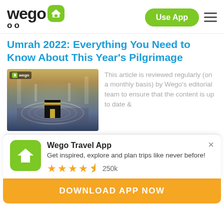[Figure (logo): Wego logo with airplane icon, Use App button, and hamburger menu]
Umrah 2022: Everything You Need to Know About This Year's Pilgrimage
[Figure (photo): Aerial photo of the Kaaba at Masjid al-Haram with pilgrims performing tawaf, with Wego watermark]
This article is reviewed regularly (on a monthly basis) by Wego's editorial team to ensure that the content is up to date &
[Figure (logo): Wego Travel App promotional banner with green app icon showing airplane]
Wego Travel App
Get inspired, explore and plan trips like never before!
★★★★½ 250k
DOWNLOAD APP NOW